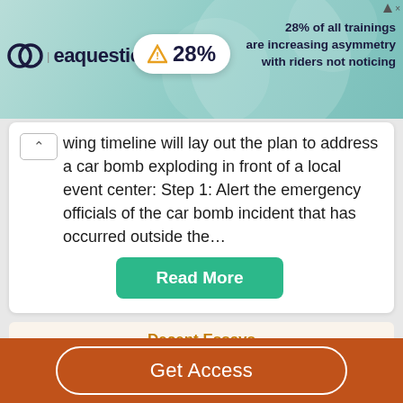[Figure (screenshot): Advertisement banner for eaquestic showing logo, 28% warning badge, and text '28% of all trainings are increasing asymmetry with riders not noticing']
wing timeline will lay out the plan to address a car bomb exploding in front of a local event center: Step 1: Alert the emergency officials of the car bomb incident that has occurred outside the…
Read More
Decent Essays
Events, Conferences & Exhibitions - P1 & P2
Get Access